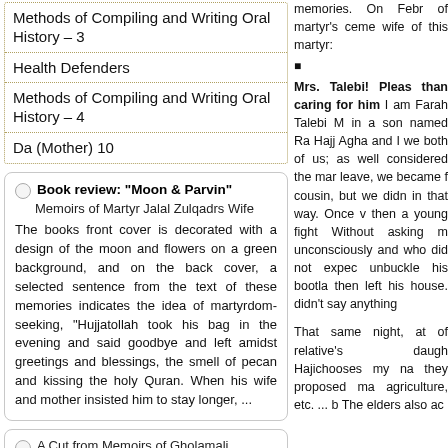Methods of Compiling and Writing Oral History – 3
Health Defenders
Methods of Compiling and Writing Oral History – 4
Da (Mother) 10
Book review: "Moon & Parvin"
Memoirs of Martyr Jalal Zulqadrs Wife
The books front cover is decorated with a design of the moon and flowers on a green background, and on the back cover, a selected sentence from the text of these memories indicates the idea of martyrdom-seeking, "Hujjatollah took his bag in the evening and said goodbye and left amidst greetings and blessings, the smell of pecan and kissing the holy Quran. When his wife and mother insisted him to stay longer, ...
A Cut from Memoirs of Gholamali Mehraban Jahromi
Acceptance of UN Resolution and End of War
In Tir of 1367 (July 1988), I had been sitting with the guys of the operational plan including Ahmad Rabiee, Shahriar Chahar Setad, Faramarz Ebrahimi, and
memories. On Febr of martyr's ceme wife of this martyr:
■
Mrs. Talebi! Pleas than caring for him I am Farah Talebi M in a son named Ra Hajj Agha and I we both of us; as well considered the mar leave, we became f cousin, but we didn in that way. Once v then a young fight Without asking m unconsciously and who did not expec unbuckle his bootla then left his house. didn't say anything
That same night, at of relative's daugh Hajichooses my na they proposed ma agriculture, etc. ... b The elders also ac